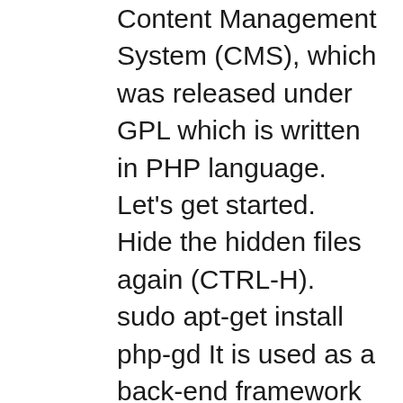Content Management System (CMS), which was released under GPL which is written in PHP language. Let's get started. Hide the hidden files again (CTRL-H). sudo apt-get install php-gd It is used as a back-end framework for most of the websites and also used for knowledge management system. In this post, we are going to learn how to install Drupal onto an Ubuntu 18.04 instance. Enable this new configuration file in order for Apache2 to take it into account at the next restart. var b = document.getElementsByTagName("script")[0]; You will be requested to define the database to be used and to indicate the data for the user with whom Drupal will have the rights to write the information. After downloading, the file should be in your Downloads folder. Update the Ubuntu system. For development purpose it should be preferable to use Drupal VM, it comes with a default Solr configuration that can be enabled via the config.yml file. For this tutorial I am using an Ubuntu 16.04 LTS install. First you will need to create EC2 instance with proper AMI from Amazon Web Service. All preparations for the installation of the Drupal